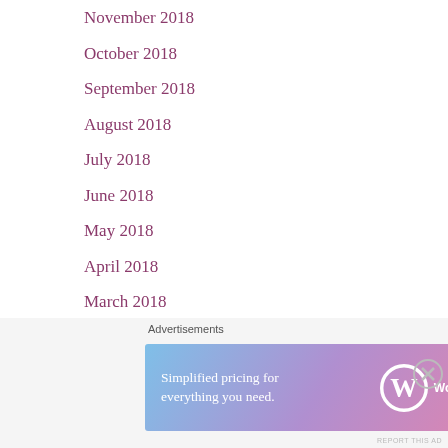November 2018
October 2018
September 2018
August 2018
July 2018
June 2018
May 2018
April 2018
March 2018
February 2018
January 2018
December 2017
November 2017
October 2017
[Figure (infographic): WordPress.com advertisement banner with text 'Simplified pricing for everything you need.' and WordPress.com logo on gradient background (blue to pink)]